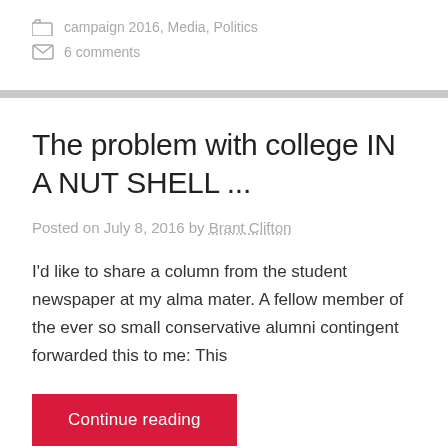campaign 2016, Media, Politics
6 comments
The problem with college IN A NUT SHELL ...
Posted on July 8, 2016 by Brant Clifton
I'd like to share a column from the student newspaper at my alma mater. A fellow member of the ever so small conservative alumni contingent forwarded this to me: This
Continue reading